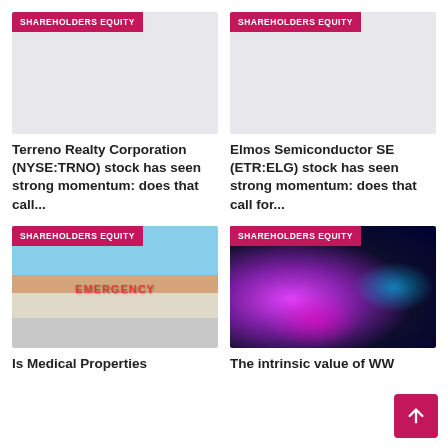[Figure (photo): Gray placeholder image with SHAREHOLDERS EQUITY badge]
Terreno Realty Corporation (NYSE:TRNO) stock has seen strong momentum: does that call...
[Figure (photo): Gray placeholder image with SHAREHOLDERS EQUITY badge]
Elmos Semiconductor SE (ETR:ELG) stock has seen strong momentum: does that call for...
[Figure (photo): Photo of a hospital emergency entrance building with SHAREHOLDERS EQUITY badge]
Is Medical Properties
[Figure (photo): Abstract tech/data visualization image with purple and cyan colors with SHAREHOLDERS EQUITY badge]
The intrinsic value of WW